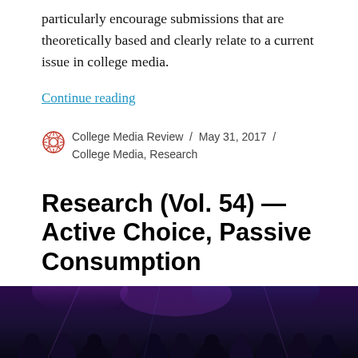particularly encourage submissions that are theoretically based and clearly relate to a current issue in college media.
Continue reading
College Media Review / May 31, 2017 / College Media, Research
Research (Vol. 54) — Active Choice, Passive Consumption
[Figure (photo): Dark photo of people in a crowd or audience at an event with colorful lighting (purple/blue hues)]